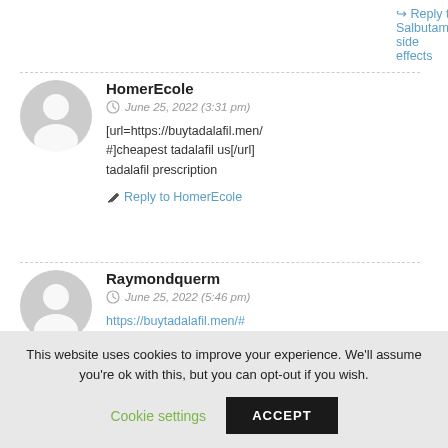↪ Reply to Salbutamol side effects
HomerEcole
June 25, 2022 (3:31 pm)
[url=https://buytadalafil.men/#]cheapest tadalafil us[/url] tadalafil prescription
✏ Reply to HomerEcole
Raymondquerm
June 25, 2022 (5:46 pm)
https://buytadalafil.men/# tadalafil prescription
✏ Reply to Raymondquerm
This website uses cookies to improve your experience. We'll assume you're ok with this, but you can opt-out if you wish.
Cookie settings
ACCEPT